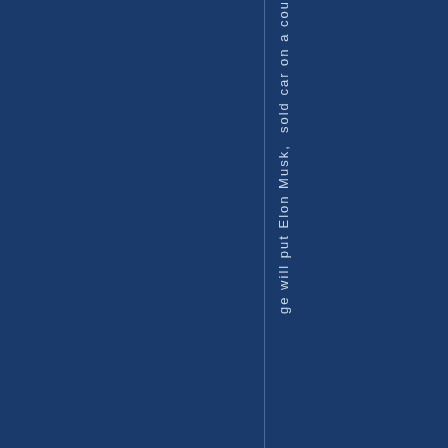ge will put Elon Musk, sold car on a cou